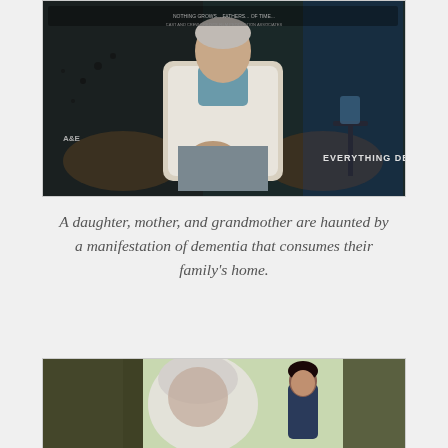[Figure (photo): Movie poster showing an elderly woman sitting in an armchair. She wears a white cardigan over a blue patterned shirt and plaid pants. The background is dark and moody. Text reads 'EVERYTHING DECAYS' and there are film credits at the top.]
A daughter, mother, and grandmother are haunted by a manifestation of dementia that consumes their family's home.
[Figure (photo): Outdoor scene showing two women near large trees with vines. One woman has white/grey hair and appears to be an older woman in the foreground, blurred. The other is a younger dark-haired woman standing further back.]